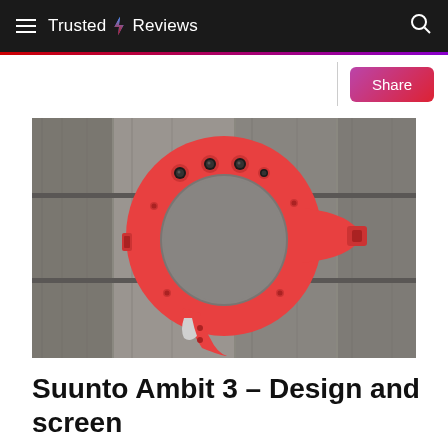Trusted Reviews
[Figure (photo): Top-down view of a red Suunto Ambit 3 sport watch with the band open, lying on weathered grey wooden slats. The watch face shows multiple buttons/sensors on the top edge.]
Suunto Ambit 3 – Design and screen